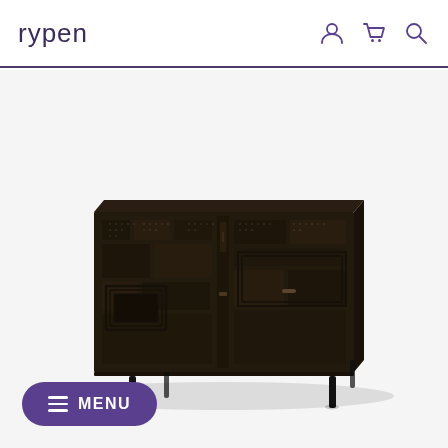rypen
[Figure (photo): A dark brown/black wooden sideboard cabinet with intricate carved geometric patchwork pattern on the front panels and doors, sitting on thin black metal legs. The piece has a rectangular shape with two doors and what appears to be a drawer in the middle section.]
MENU